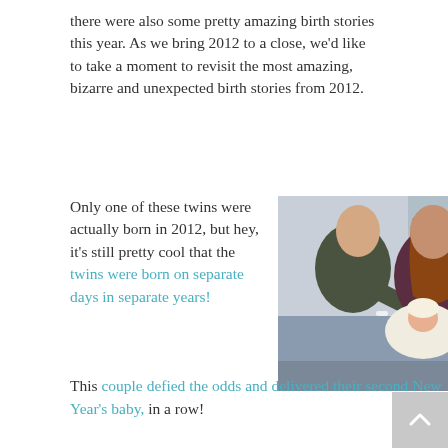there were also some pretty amazing birth stories this year. As we bring 2012 to a close, we'd like to take a moment to revisit the most amazing, bizarre and unexpected birth stories from 2012.
Only one of these twins were actually born in 2012, but hey, it's still pretty cool that the twins were born on separate days in separate years!
[Figure (photo): A man and woman in a hospital room smiling and holding a newborn baby wrapped in white.]
This couple defied the odds and delivered their second New Year's baby, in a row!